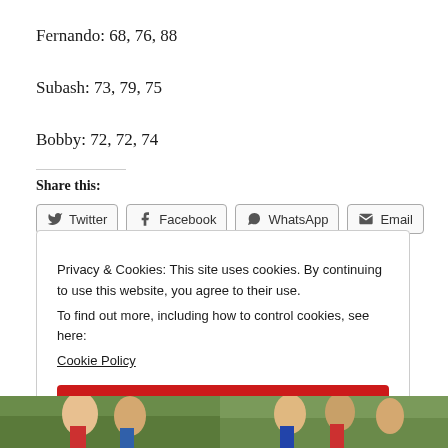Fernando: 68, 76, 88
Subash: 73, 79, 75
Bobby: 72, 72, 74
Share this:
Twitter | Facebook | WhatsApp | Email
Privacy & Cookies: This site uses cookies. By continuing to use this website, you agree to their use.
To find out more, including how to control cookies, see here:
Cookie Policy
Close and accept
[Figure (photo): Two outdoor photos of people at bottom of page]